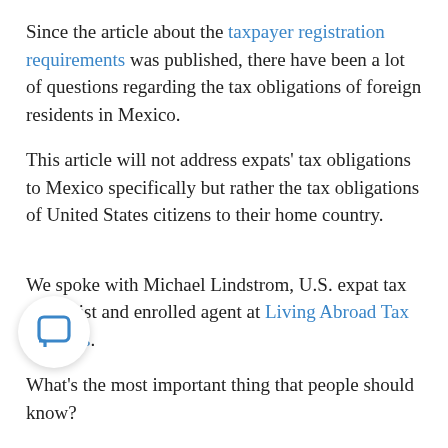Since the article about the taxpayer registration requirements was published, there have been a lot of questions regarding the tax obligations of foreign residents in Mexico.
This article will not address expats' tax obligations to Mexico specifically but rather the tax obligations of United States citizens to their home country.
We spoke with Michael Lindstrom, U.S. expat tax specialist and enrolled agent at Living Abroad Tax Services.
What's the most important thing that people should know?
"U.S. taxes are based on citizenship; you have the privilege of reporting and paying on worldwide income," Lindstrom says.
...lly, there are few ways around filing U.S. taxes if y... a U.S. citizen. But for those who might think, "I already pay taxes to Mexico; I shouldn't have to pay taxes to